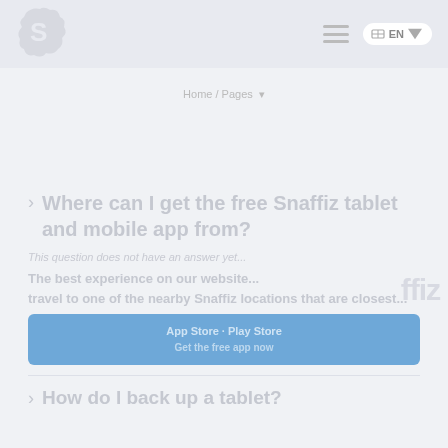Snaffiz logo and navigation header with hamburger menu and EN language selector
Home / Pages ▾
Where can I get the free Snaffiz tablet and mobile app from?
This question does not have an answer yet...
The best experience on our website... travel to one of the nearby Snaffiz locations that are closest...
[Figure (screenshot): Blue button/link area with text about Snaffiz tablet and mobile app]
How do I back up a tablet?